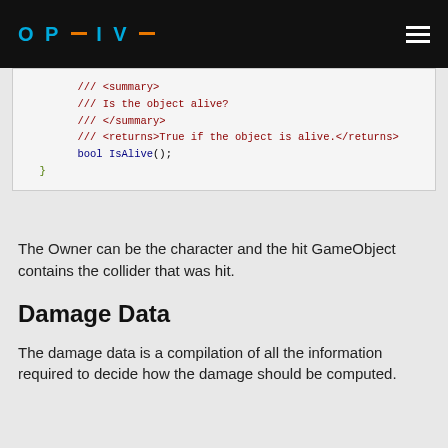OPSIVE
[Figure (screenshot): Code block showing C# XML documentation comments and bool IsAlive() method declaration inside an interface or class closing brace]
The Owner can be the character and the hit GameObject contains the collider that was hit.
Damage Data
The damage data is a compilation of all the information required to decide how the damage should be computed.